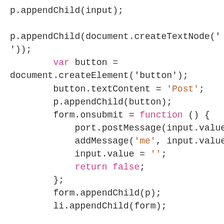p.appendChild(input);

p.appendChild(document.createTextNode('
'));
        var button =
document.createElement('button');
        button.textContent = 'Post';
        p.appendChild(button);
        form.onsubmit = function () {
            port.postMessage(input.value);
            addMessage('me', input.value);
            input.value = '';
            return false;
        };
        form.appendChild(p);
        li.appendChild(form);